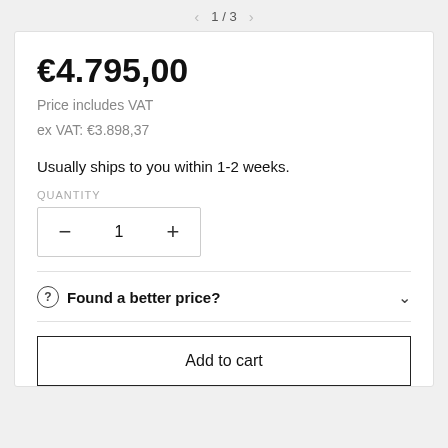< 1 / 3 >
€4.795,00
Price includes VAT
ex VAT: €3.898,37
Usually ships to you within 1-2 weeks.
QUANTITY
− 1 +
Found a better price?
Add to cart